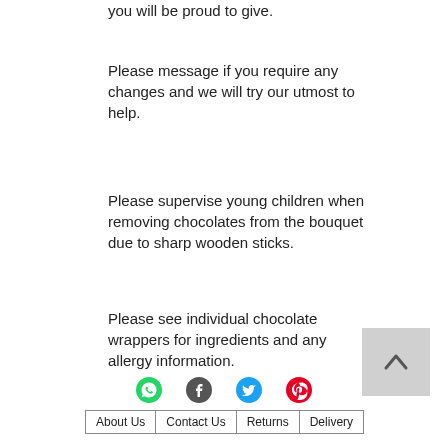you will be proud to give.
Please message if you require any changes and we will try our utmost to help.
Please supervise young children when removing chocolates from the bouquet due to sharp wooden sticks.
Please see individual chocolate wrappers for ingredients and any allergy information.
[Figure (other): Back to top button with upward chevron arrow on grey background]
[Figure (other): Social sharing icons: WhatsApp (green), Facebook (dark), Twitter (blue), Pinterest (red)]
About Us | Contact Us | Returns | Delivery